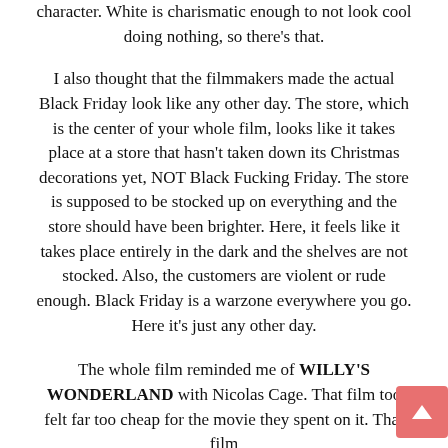character. White is charismatic enough to not look cool doing nothing, so there's that.
I also thought that the filmmakers made the actual Black Friday look like any other day. The store, which is the center of your whole film, looks like it takes place at a store that hasn't taken down its Christmas decorations yet, NOT Black Fucking Friday. The store is supposed to be stocked up on everything and the store should have been brighter. Here, it feels like it takes place entirely in the dark and the shelves are not stocked. Also, the customers are violent or rude enough. Black Friday is a warzone everywhere you go. Here it's just any other day.
The whole film reminded me of WILLY'S WONDERLAND with Nicolas Cage. That film too felt far too cheap for the movie they spent on it. That film